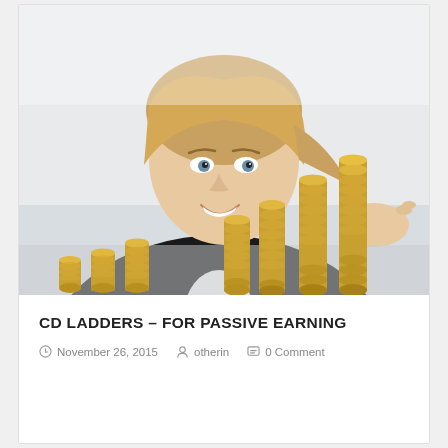[Figure (photo): A smiling businesswoman in a dark blazer leaning over stacks of gold coins arranged in ascending height order like a bar chart or ladder, photographed from above on a white/light background.]
CD LADDERS – FOR PASSIVE EARNING
November 26, 2015   otherin   0 Comment